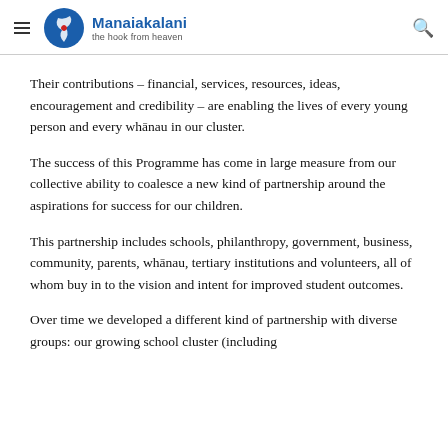Manaiakalani – the hook from heaven
Their contributions – financial, services, resources, ideas, encouragement and credibility – are enabling the lives of every young person and every whānau in our cluster.
The success of this Programme has come in large measure from our collective ability to coalesce a new kind of partnership around the aspirations for success for our children.
This partnership includes schools, philanthropy, government, business, community, parents, whānau, tertiary institutions and volunteers, all of whom buy in to the vision and intent for improved student outcomes.
Over time we developed a different kind of partnership with diverse groups: our growing school cluster (including